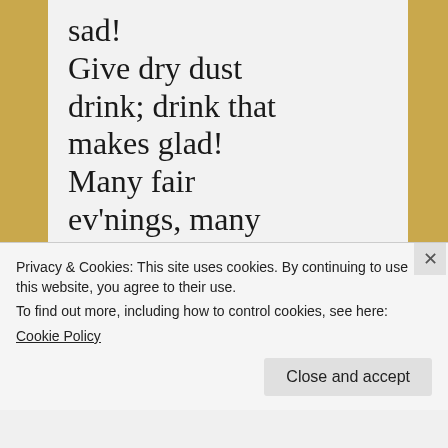sad!
Give dry dust drink; drink that makes glad!
Many fair ev'nings, many flow'rs
Sweeten'd with rich and gentle
Privacy & Cookies: This site uses cookies. By continuing to use this website, you agree to their use.
To find out more, including how to control cookies, see here:
Cookie Policy